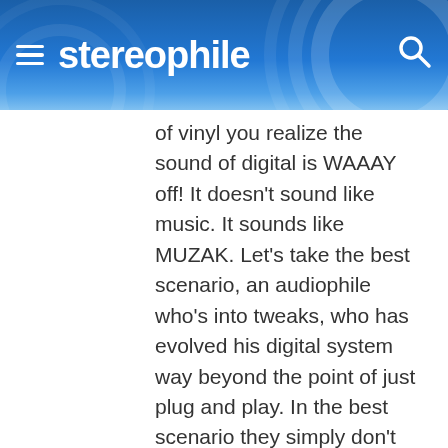stereophile
of vinyl you realize the sound of digital is WAAAY off! It doesn't sound like music. It sounds like MUZAK. Let's take the best scenario, an audiophile who's into tweaks, who has evolved his digital system way beyond the point of just plug and play. In the best scenario they simply don't sound warm or sweet and the harmonics are ALL wrong, even the bass response is all wrong! Bass is warm and fat